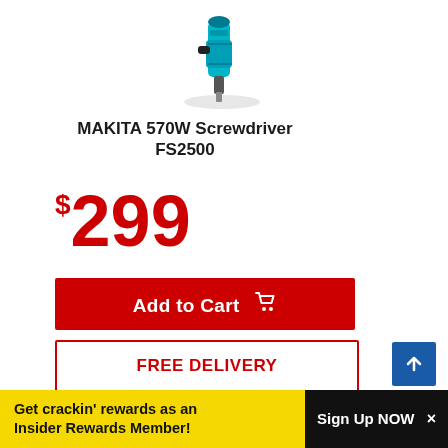[Figure (photo): Makita 570W screwdriver FS2500 product image on white background]
MAKITA 570W Screwdriver FS2500
$299
Add to Cart
FREE DELIVERY
Get crackin' rewards as an Insider Rewards Member!
Sign Up NOW ×